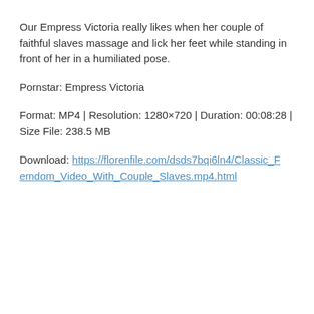Our Empress Victoria really likes when her couple of faithful slaves massage and lick her feet while standing in front of her in a humiliated pose.
Pornstar: Empress Victoria
Format: MP4 | Resolution: 1280×720 | Duration: 00:08:28 | Size File: 238.5 MB
Download: https://florenfile.com/dsds7bqi6ln4/Classic_Femdom_Video_With_Couple_Slaves.mp4.html